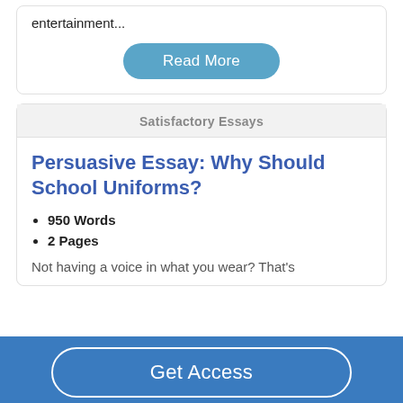entertainment...
Read More
Satisfactory Essays
Persuasive Essay: Why Should School Uniforms?
950 Words
2 Pages
Not having a voice in what you wear? That's
Get Access